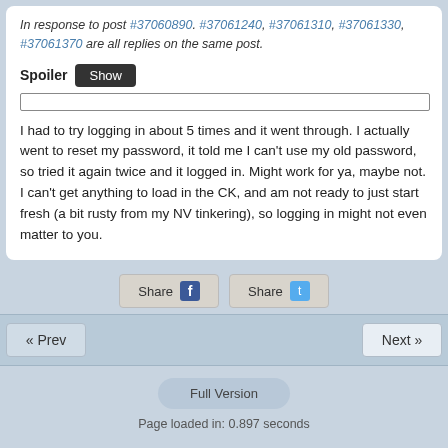In response to post #37060890. #37061240, #37061310, #37061330, #37061370 are all replies on the same post.
Spoiler Show
I had to try logging in about 5 times and it went through. I actually went to reset my password, it told me I can't use my old password, so tried it again twice and it logged in. Might work for ya, maybe not. I can't get anything to load in the CK, and am not ready to just start fresh (a bit rusty from my NV tinkering), so logging in might not even matter to you.
Share Share
« Prev   Next »
Full Version
Page loaded in: 0.897 seconds